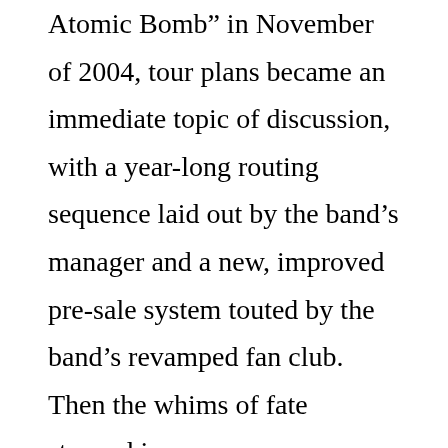Atomic Bomb” in November of 2004, tour plans became an immediate topic of discussion, with a year-long routing sequence laid out by the band’s manager and a new, improved pre-sale system touted by the band’s revamped fan club. Then the whims of fate stepped in.
The tour’s original Miami launch was scuttled, owing to either illness affecting a band member’s family or tour routing issues, depending on the source. And the first round